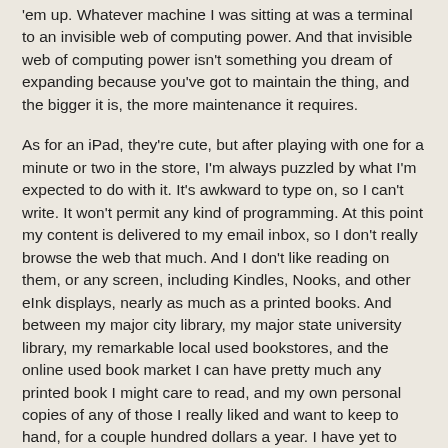'em up. Whatever machine I was sitting at was a terminal to an invisible web of computing power. And that invisible web of computing power isn't something you dream of expanding because you've got to maintain the thing, and the bigger it is, the more maintenance it requires.
As for an iPad, they're cute, but after playing with one for a minute or two in the store, I'm always puzzled by what I'm expected to do with it. It's awkward to type on, so I can't write. It won't permit any kind of programming. At this point my content is delivered to my email inbox, so I don't really browse the web that much. And I don't like reading on them, or any screen, including Kindles, Nooks, and other eInk displays, nearly as much as a printed books. And between my major city library, my major state university library, my remarkable local used bookstores, and the online used book market I can have pretty much any printed book I might care to read, and my own personal copies of any of those I really liked and want to keep to hand, for a couple hundred dollars a year. I have yet to see any electronic reading device offer me anything like that value.
Apple's iThings are iniquitous, and their desktops overpriced, but their laptops are actually very good.
Bu...